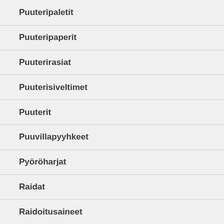Puuteripaletit
Puuteripaperit
Puuterirasiat
Puuterisiveltimet
Puuterit
Puuvillapyyhkeet
Pyöröharjat
Raidat
Raidoitusaineet